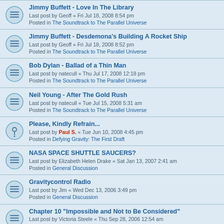Jimmy Buffett - Love In The Library
Last post by Geoff « Fri Jul 18, 2008 8:54 pm
Posted in The Soundtrack to The Parallel Universe
Jimmy Buffett - Desdemona's Building A Rocket Ship
Last post by Geoff « Fri Jul 18, 2008 8:52 pm
Posted in The Soundtrack to The Parallel Universe
Bob Dylan - Ballad of a Thin Man
Last post by natecull « Thu Jul 17, 2008 12:18 pm
Posted in The Soundtrack to The Parallel Universe
Neil Young - After The Gold Rush
Last post by natecull « Tue Jul 15, 2008 5:31 am
Posted in The Soundtrack to The Parallel Universe
Please, Kindly Refrain...
Last post by Paul S. « Tue Jun 10, 2008 4:45 pm
Posted in Defying Gravity: The First Draft
NASA SPACE SHUTTLE SAUCERS?
Last post by Elizabeth Helen Drake « Sat Jan 13, 2007 2:41 am
Posted in General Discussion
Gravitycontrol Radio
Last post by Jim « Wed Dec 13, 2006 3:49 pm
Posted in General Discussion
Chapter 10 "Impossible and Not to Be Considered"
Last post by Victoria Steele « Thu Sep 28, 2006 12:54 am
Posted in Defying Gravity: The First Draft
Chapter 9 " On the Shoulders of Giants"